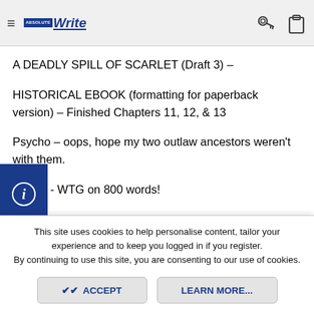AbsoluteWrite navigation bar with logo, hamburger menu, key icon and clipboard icon
A DEADLY SPILL OF SCARLET (Draft 3) –
HISTORICAL EBOOK (formatting for paperback version) – Finished Chapters 11, 12, & 13
Psycho – oops, hope my two outlaw ancestors weren't with them.
Woolly - WTG on 800 words!
Gatteau – Grats on 585 words! Your genealogy sounds very interesting. You must be proud. I find the search fascinating.
Woollybear and Helix
This site uses cookies to help personalise content, tailor your experience and to keep you logged in if you register. By continuing to use this site, you are consenting to our use of cookies.